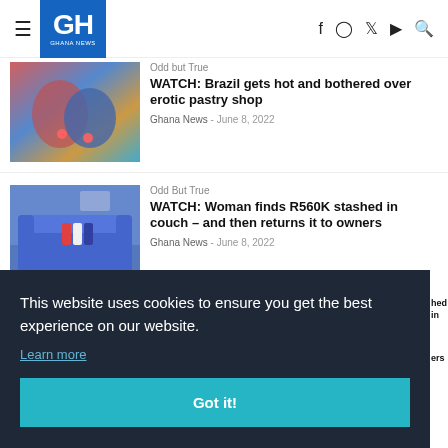GH GHANA NEWS — navigation header with hamburger menu and social icons (Facebook, Instagram, Twitter, YouTube, Search)
[Figure (photo): Close-up photo of two people kissing, colorful background]
Odd but True
WATCH: Brazil gets hot and bothered over erotic pastry shop
Ghana News - June 8, 2022
[Figure (photo): Photo of a blue sofa/couch with colorful pillows in a living room]
Odd But True
WATCH: Woman finds R560K stashed in couch – and then returns it to owners
Ghana News - June 8, 2022
This website uses cookies to ensure you get the best experience on our website.
Learn more
Got it!
[Figure (photo): Partially visible thumbnail at bottom of page, Premier League article with Bet £10 badge]
Premier League